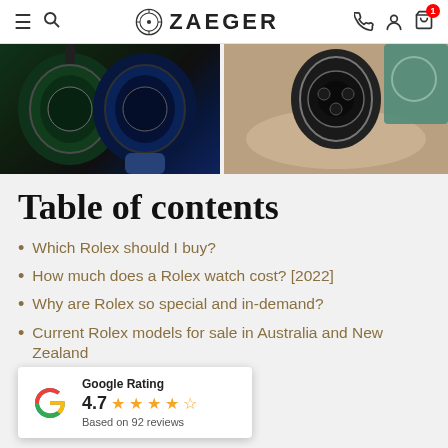ZAEGER
[Figure (photo): Two Rolex watches with green and blue rubber straps on dark background, and a Rolex watch on a tan leather pouch with teal packaging.]
Table of contents
Which Rolex should I buy?
How much does a Rolex watch cost? [2022]
Why are Rolex so special and in-demand?
Current Rolex models for sale in Australia and New Zealand
…nge: Buyers Guide
…STER PERPETUAL
[Figure (other): Google Rating popup showing 4.7 stars based on 92 reviews]